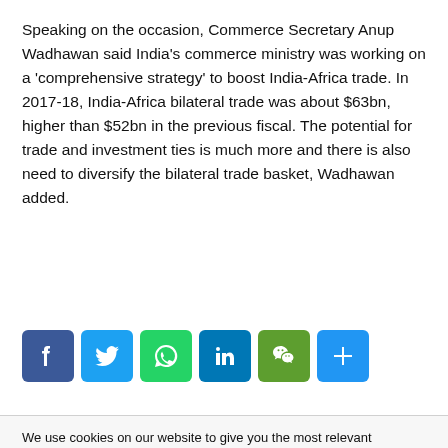Speaking on the occasion, Commerce Secretary Anup Wadhawan said India's commerce ministry was working on a 'comprehensive strategy' to boost India-Africa trade. In 2017-18, India-Africa bilateral trade was about $63bn, higher than $52bn in the previous fiscal. The potential for trade and investment ties is much more and there is also need to diversify the bilateral trade basket, Wadhawan added.
[Figure (infographic): Social media share buttons: Facebook, Twitter, WhatsApp, LinkedIn, WeChat, and a general Share button]
We use cookies on our website to give you the most relevant experience by remembering your preferences and repeat visits. By clicking "Accept All", you consent to the use of ALL the cookies. However, you may visit "Cookie Settings" to provide a controlled consent.